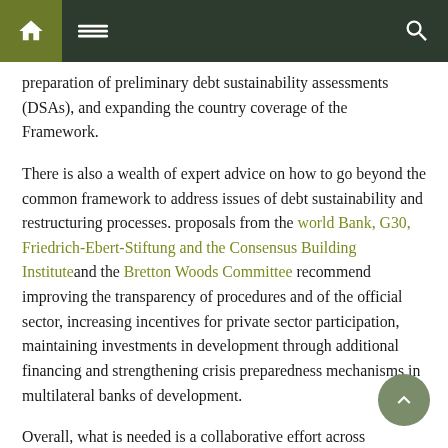Navigation bar with home, menu, and search icons
preparation of preliminary debt sustainability assessments (DSAs), and expanding the country coverage of the Framework.
There is also a wealth of expert advice on how to go beyond the common framework to address issues of debt sustainability and restructuring processes. proposals from the world Bank, G30, Friedrich-Ebert-Stiftung and the Consensus Building Institute and the Bretton Woods Committee recommend improving the transparency of procedures and of the official sector, increasing incentives for private sector participation, maintaining investments in development through additional financing and strengthening crisis preparedness mechanisms in multilateral banks of development.
Overall, what is needed is a collaborative effort across